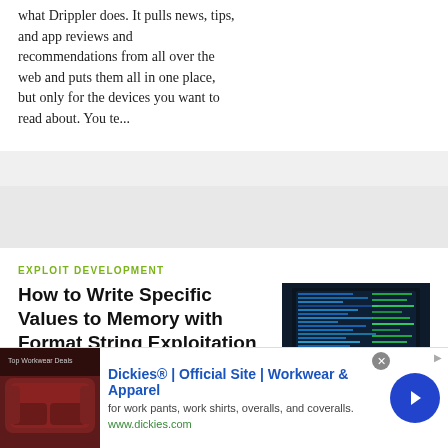what Drippler does. It pulls news, tips, and app reviews and recommendations from all over the web and puts them all in one place, but only for the devices you want to read about. You te...
EXPLOIT DEVELOPMENT
How to Write Specific Values to Memory with Format String Exploitation
[Figure (photo): Dark background with laptop screen showing matrix-style green text/code]
BY ALLEGIANCE  03/09/2018 5:13 PM
NULL BYTE
During our last adventure into the realm of format string exploitation, we learned how we can manipulate format specifiers to rewrite a program's memory with an arbitrary value. While that's all well and good, arbitrary values are boring. We want to gain full control over the values we write, and today we are going to learn how to do just that...
[Figure (photo): Advertisement: Dickies Official Site - Workwear and Apparel. Shows a red couch/chair image on left, with ad text and www.dickies.com URL, and a blue arrow button on right.]